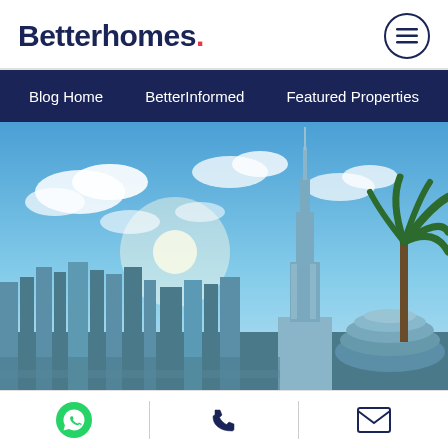Betterhomes.
Blog Home | BetterInformed | Featured Properties
[Figure (photo): Skyline of Dubai featuring the Burj Khalifa tower and surrounding skyscrapers under a blue sky with clouds and a palm tree in the foreground.]
WhatsApp | Phone | Email